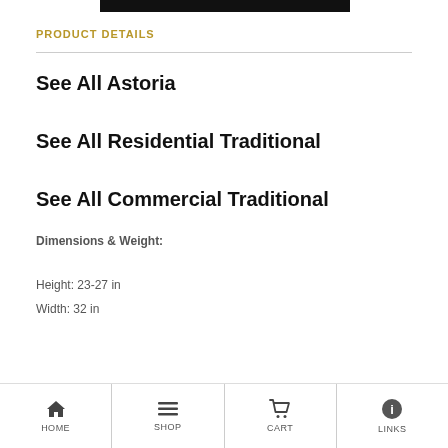PRODUCT DETAILS
See All Astoria
See All Residential Traditional
See All Commercial Traditional
Dimensions & Weight:
Height: 23-27 in
Width: 32 in
HOME  SHOP  CART  LINKS